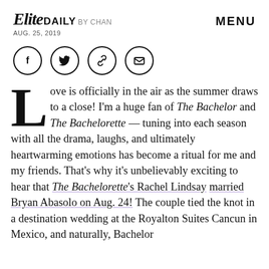Elite Daily — BY CHAN — AUG. 25, 2019 — MENU
[Figure (infographic): Four social share icon circles: Facebook (f), Twitter (bird), Link (chain), Email (envelope)]
Love is officially in the air as the summer draws to a close! I'm a huge fan of The Bachelor and The Bachelorette — tuning into each season with all the drama, laughs, and ultimately heartwarming emotions has become a ritual for me and my friends. That's why it's unbelievably exciting to hear that The Bachelorette's Rachel Lindsay married Bryan Abasolo on Aug. 24! The couple tied the knot in a destination wedding at the Royalton Suites Cancun in Mexico, and naturally, Bachelor Nation is buzzing about all the details in social media.